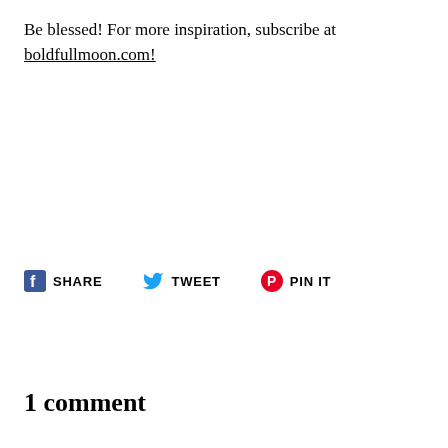Be blessed! For more inspiration, subscribe at boldfullmoon.com!
[Figure (infographic): Social share buttons: Facebook Share, Twitter Tweet, Pinterest Pin It]
1 comment